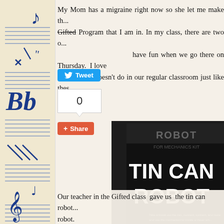My Mom has a migraine right now so she let me make th... Gifted Program that I am in. In my class, there are two o... have fun when we go there on Thursday. I love... ates doesn't do in our regular classroom just like thes...
[Figure (photo): A tin can robot kit box showing 'TIN CAN ROBOT' text, with blue wire robot parts assembled in front, and a grape gum package visible to the right. A handwritten name 'Rylie' is visible on a card.]
Our teacher in the Gifted class gave us the tin can robot... robot.